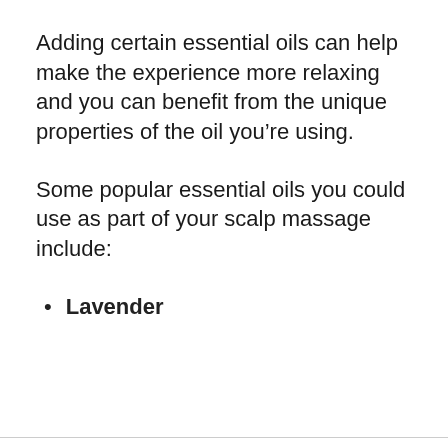Adding certain essential oils can help make the experience more relaxing and you can benefit from the unique properties of the oil you’re using.
Some popular essential oils you could use as part of your scalp massage include:
Lavender